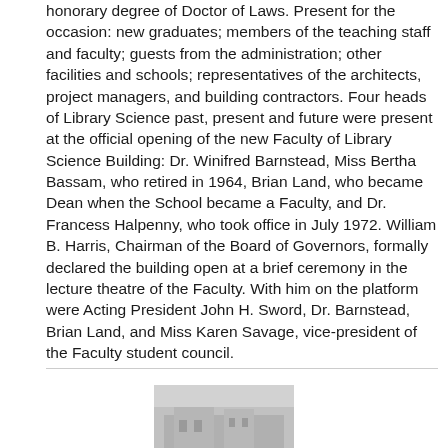honorary degree of Doctor of Laws. Present for the occasion: new graduates; members of the teaching staff and faculty; guests from the administration; other facilities and schools; representatives of the architects, project managers, and building contractors. Four heads of Library Science past, present and future were present at the official opening of the new Faculty of Library Science Building: Dr. Winifred Barnstead, Miss Bertha Bassam, who retired in 1964, Brian Land, who became Dean when the School became a Faculty, and Dr. Francess Halpenny, who took office in July 1972. William B. Harris, Chairman of the Board of Governors, formally declared the building open at a brief ceremony in the lecture theatre of the Faculty. With him on the platform were Acting President John H. Sword, Dr. Barnstead, Brian Land, and Miss Karen Savage, vice-president of the Faculty student council.
[Figure (photo): Black and white photograph, partially visible at bottom of page, appears to show a building or architectural structure.]